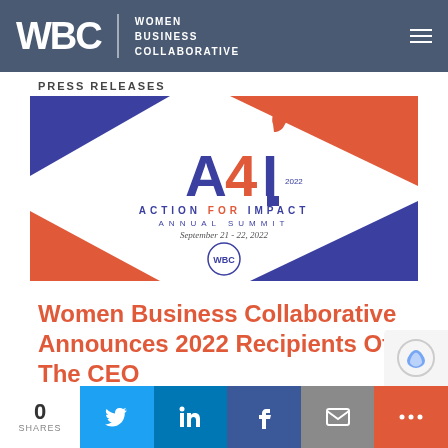WBC | WOMEN BUSINESS COLLABORATIVE
PRESS RELEASES
[Figure (logo): A4I Action For Impact Annual Summit September 21-22, 2022, WBC logo banner with red and blue geometric shapes]
Women Business Collaborative Announces 2022 Recipients Of The CEO
0 SHARES [Twitter] [LinkedIn] [Facebook] [Email] [+]